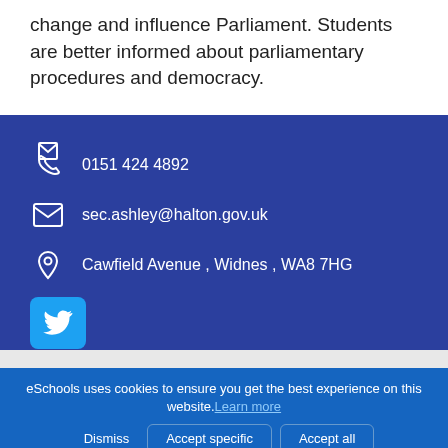change and influence Parliament. Students are better informed about parliamentary procedures and democracy.
0151 424 4892
sec.ashley@halton.gov.uk
Cawfield Avenue , Widnes , WA8 7HG
[Figure (logo): Twitter social media icon button in blue rounded square]
eSchools uses cookies to ensure you get the best experience on this website. Learn more
Dismiss  Accept specific  Accept all